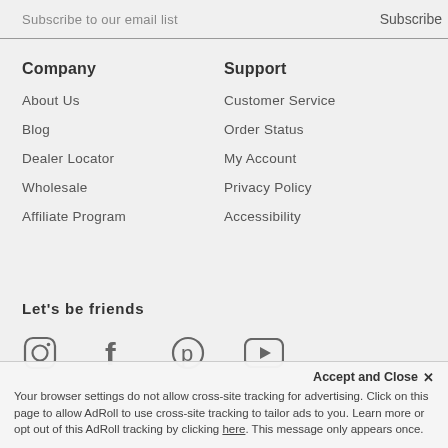Subscribe to our email list   Subscribe
Company
About Us
Blog
Dealer Locator
Wholesale
Affiliate Program
Support
Customer Service
Order Status
My Account
Privacy Policy
Accessibility
Let's be friends
[Figure (illustration): Social media icons: Instagram, Facebook, Pinterest, YouTube]
Accept and Close ✕
Your browser settings do not allow cross-site tracking for advertising. Click on this page to allow AdRoll to use cross-site tracking to tailor ads to you. Learn more or opt out of this AdRoll tracking by clicking here. This message only appears once.